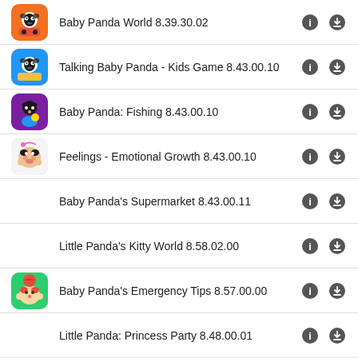Baby Panda World 8.39.30.02
Talking Baby Panda - Kids Game 8.43.00.10
Baby Panda: Fishing 8.43.00.10
Feelings - Emotional Growth 8.43.00.10
Baby Panda's Supermarket 8.43.00.11
Little Panda's Kitty World 8.58.02.00
Baby Panda's Emergency Tips 8.57.00.00
Little Panda: Princess Party 8.48.00.01